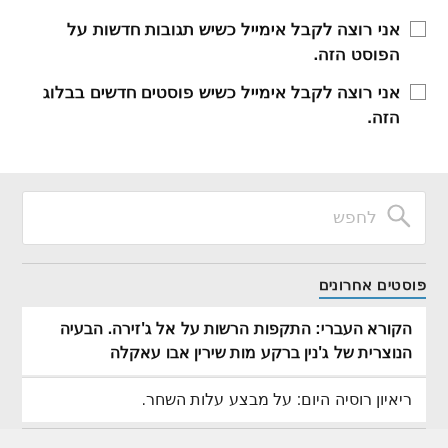אני רוצה לקבל אימייל כשיש תגובות חדשות על הפוסט הזה.
אני רוצה לקבל אימייל כשיש פוסטים חדשים בבלוג הזה.
[Figure (screenshot): Search box with magnifying glass icon and placeholder text לחפש]
פוסטים אחרונים
הקורא העברי: התקפות הרשות על אל ג'זירה. הבעיה הנוצרית של ג'נין ברקע מות שירין אבו עאקלה
ריאיון רוסיה היום: על מבצע עלות השחר.